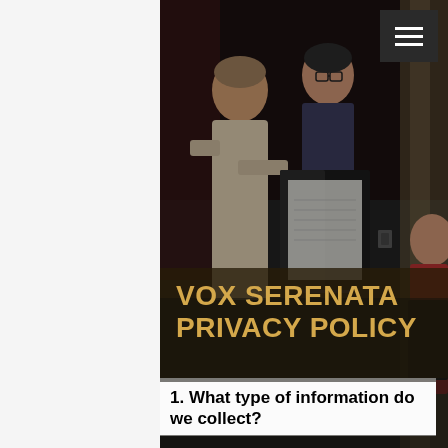[Figure (photo): Choir singers performing, holding black folders with sheet music in a church or performance hall. Three singers visible in foreground, another partially visible on the right edge.]
VOX SERENATA PRIVACY POLICY
1. What type of information do we collect?
We receive, collect and store any information you enter on our website or provide us in any other way. In addition,